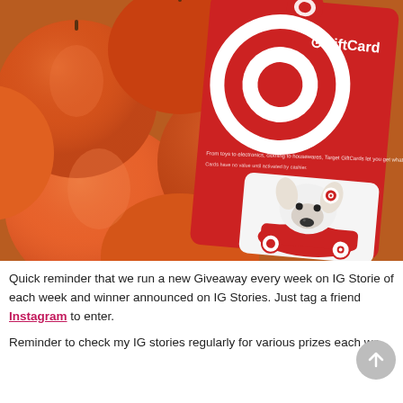[Figure (photo): Photo of red apples with a Target Gift Card (featuring the Target bullseye logo, a white bull terrier dog in a red wagon, and text 'GiftCard') placed on top of the apples.]
Quick reminder that we run a new Giveaway every week on IG Stories of each week and winner announced on IG Stories. Just tag a friend Instagram to enter.
Reminder to check my IG stories regularly for various prizes each we